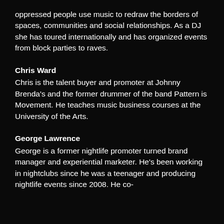oppressed people use music to redraw the borders of spaces, communities and social relationships. As a DJ she has toured internationally and has organized events from block parties to raves.
Chris Ward
Chris is the talent buyer and promoter at Johnny Brenda's and the former drummer of the band Pattern is Movement. He teaches music business courses at the University of the Arts.
George Lawrence
George is a former nightlife promoter turned brand manager and experiential marketer. He's been working in nightclubs since he was a teenager and producing nightlife events since 2008. He co-